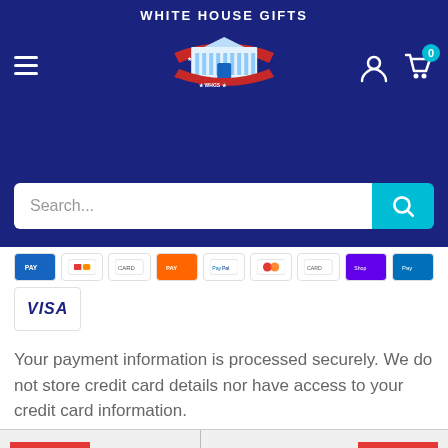[Figure (screenshot): White House Gifts website header with logo, hamburger menu, user icon, cart icon with badge 0, and search bar]
[Figure (screenshot): Row of payment method icons including various card/payment providers]
[Figure (logo): VISA logo in a bordered box]
Your payment information is processed securely. We do not store credit card details nor have access to your credit card information.
Our website uses cookies in order to provide the most relevant information. Please accept cookies for optimal performance.
Accept Cookies